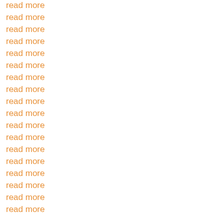read more
read more
read more
read more
read more
read more
read more
read more
read more
read more
read more
read more
read more
read more
read more
read more
read more
read more